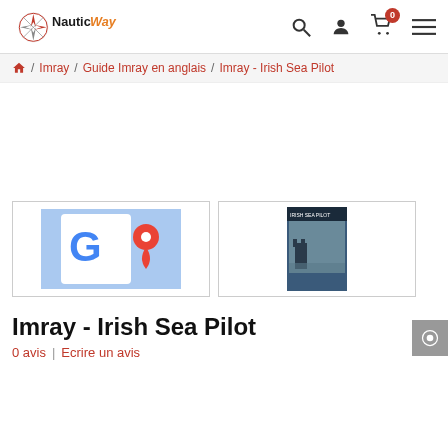NauticWay
Home / Imray / Guide Imray en anglais / Imray - Irish Sea Pilot
[Figure (screenshot): Google Maps logo/icon thumbnail]
[Figure (photo): Book cover thumbnail for Imray - Irish Sea Pilot]
Imray - Irish Sea Pilot
0 avis | Ecrire un avis